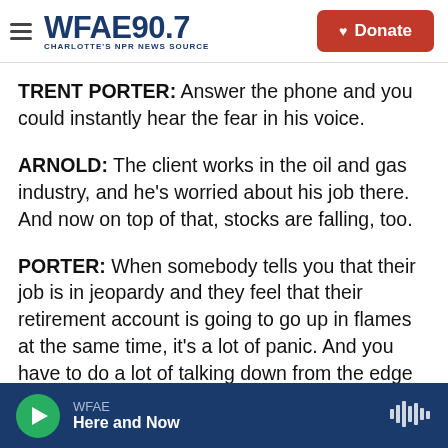WFAE 90.7 — CHARLOTTE'S NPR NEWS SOURCE | Donate
TRENT PORTER: Answer the phone and you could instantly hear the fear in his voice.
ARNOLD: The client works in the oil and gas industry, and he's worried about his job there. And now on top of that, stocks are falling, too.
PORTER: When somebody tells you that their job is in jeopardy and they feel that their retirement account is going to go up in flames at the same time, it's a lot of panic. And you have to do a lot of talking down from the edge when that happens. I told him the only time that you get hurt in the stock
WFAE | Here and Now